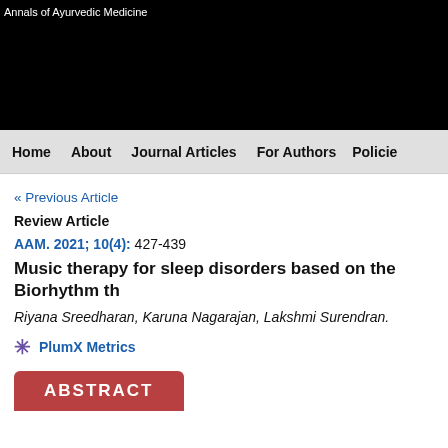[Figure (logo): Annals of Ayurvedic Medicine journal header with black background]
Home   About   Journal Articles   For Authors   Policies
« Previous Article
Review Article
AAM. 2021; 10(4): 427-439
Music therapy for sleep disorders based on the Biorhythm th
Riyana Sreedharan, Karuna Nagarajan, Lakshmi Surendran.
PlumX Metrics
ABSTRACT